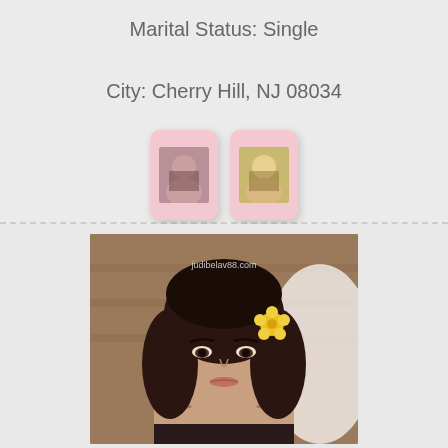Marital Status: Single
City: Cherry Hill, NJ 08034
[Figure (photo): Two small thumbnail photos in pink rounded-corner cards]
[Figure (photo): Portrait photo of a young woman with dark curly hair and a yellow flower in her hair, watermark judibelav88.com]